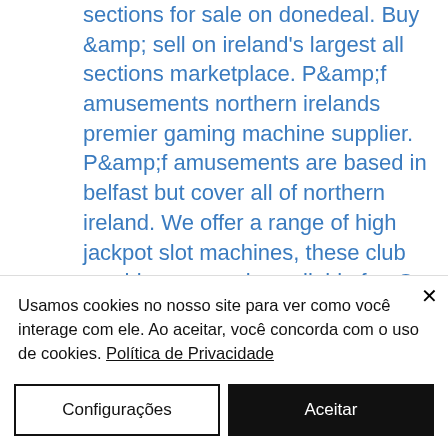sections for sale on donedeal. Buy &amp; sell on ireland's largest all sections marketplace. P&amp;f amusements northern irelands premier gaming machine supplier. P&amp;f amusements are based in belfast but cover all of northern ireland. We offer a range of high jackpot slot machines, these club machines are only available for. Our poker and gaming machines, which also include blackjack, roulette, and video slots are your chance to generate additional revenue with no financial. We only use genuine, high quality blackjack, roulette and poker tables and equipment to ensure a luxury service, which will reflect on your
Usamos cookies no nosso site para ver como você interage com ele. Ao aceitar, você concorda com o uso de cookies. Política de Privacidade
Configurações
Aceitar